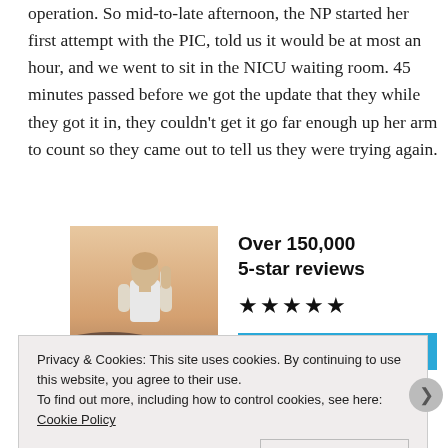operation. So mid-to-late afternoon, the NP started her first attempt with the PIC, told us it would be at most an hour, and we went to sit in the NICU waiting room. 45 minutes passed before we got the update that they while they got it in, they couldn't get it go far enough up her arm to count so they came out to tell us they were trying again.
[Figure (photo): Person in white t-shirt viewed from behind, standing outdoors at dusk or golden hour]
Over 150,000 5-star reviews ★★★★★
Get the app (button, partially obscured)
Privacy & Cookies: This site uses cookies. By continuing to use this website, you agree to their use.
To find out more, including how to control cookies, see here: Cookie Policy
Close and accept